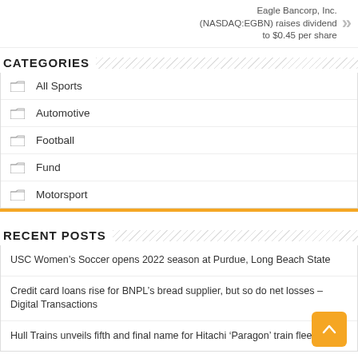Eagle Bancorp, Inc. (NASDAQ:EGBN) raises dividend to $0.45 per share
CATEGORIES
All Sports
Automotive
Football
Fund
Motorsport
RECENT POSTS
USC Women's Soccer opens 2022 season at Purdue, Long Beach State
Credit card loans rise for BNPL's bread supplier, but so do net losses – Digital Transactions
Hull Trains unveils fifth and final name for Hitachi 'Paragon' train fleet